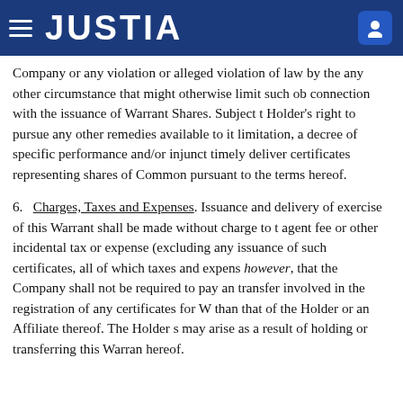JUSTIA
Company or any violation or alleged violation of law by the any other circumstance that might otherwise limit such ob connection with the issuance of Warrant Shares. Subject to Holder's right to pursue any other remedies available to it limitation, a decree of specific performance and/or injunct timely deliver certificates representing shares of Common pursuant to the terms hereof.
6. Charges, Taxes and Expenses. Issuance and delivery of exercise of this Warrant shall be made without charge to t agent fee or other incidental tax or expense (excluding any issuance of such certificates, all of which taxes and expens however, that the Company shall not be required to pay an transfer involved in the registration of any certificates for W than that of the Holder or an Affiliate thereof. The Holder s may arise as a result of holding or transferring this Warran hereof.